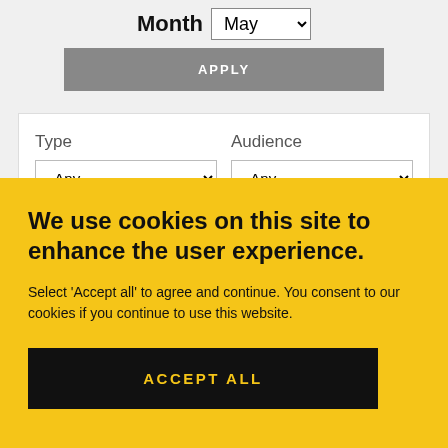Month  May
APPLY
Type
- Any -
Audience
- Any -
We use cookies on this site to enhance the user experience.
Select 'Accept all' to agree and continue. You consent to our cookies if you continue to use this website.
ACCEPT ALL
Thesis Presentation
Presentation • Scientific
Thesis Presentation
Thesis Presentation